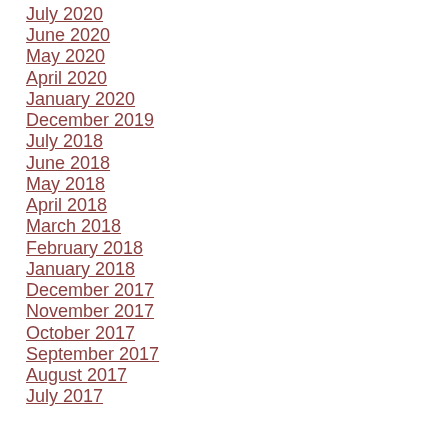July 2020
June 2020
May 2020
April 2020
January 2020
December 2019
July 2018
June 2018
May 2018
April 2018
March 2018
February 2018
January 2018
December 2017
November 2017
October 2017
September 2017
August 2017
July 2017